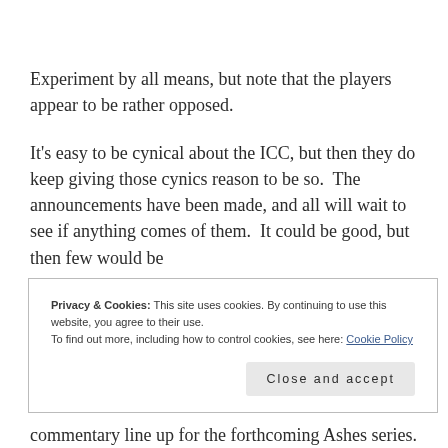Experiment by all means, but note that the players appear to be rather opposed.
It's easy to be cynical about the ICC, but then they do keep giving those cynics reason to be so.  The announcements have been made, and all will wait to see if anything comes of them.  It could be good, but then few would be
Privacy & Cookies: This site uses cookies. By continuing to use this website, you agree to their use.
To find out more, including how to control cookies, see here: Cookie Policy
Close and accept
commentary line up for the forthcoming Ashes series.